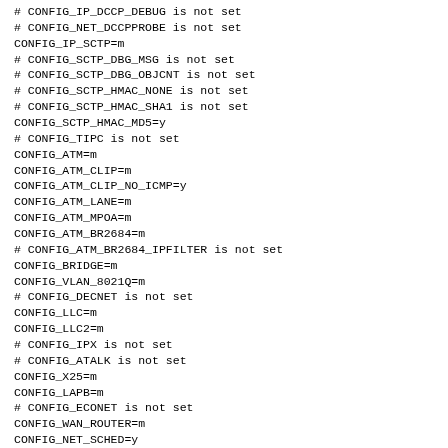# CONFIG_IP_DCCP_DEBUG is not set
# CONFIG_NET_DCCPPROBE is not set
CONFIG_IP_SCTP=m
# CONFIG_SCTP_DBG_MSG is not set
# CONFIG_SCTP_DBG_OBJCNT is not set
# CONFIG_SCTP_HMAC_NONE is not set
# CONFIG_SCTP_HMAC_SHA1 is not set
CONFIG_SCTP_HMAC_MD5=y
# CONFIG_TIPC is not set
CONFIG_ATM=m
CONFIG_ATM_CLIP=m
CONFIG_ATM_CLIP_NO_ICMP=y
CONFIG_ATM_LANE=m
CONFIG_ATM_MPOA=m
CONFIG_ATM_BR2684=m
# CONFIG_ATM_BR2684_IPFILTER is not set
CONFIG_BRIDGE=m
CONFIG_VLAN_8021Q=m
# CONFIG_DECNET is not set
CONFIG_LLC=m
CONFIG_LLC2=m
# CONFIG_IPX is not set
# CONFIG_ATALK is not set
CONFIG_X25=m
CONFIG_LAPB=m
# CONFIG_ECONET is not set
CONFIG_WAN_ROUTER=m
CONFIG_NET_SCHED=y

#